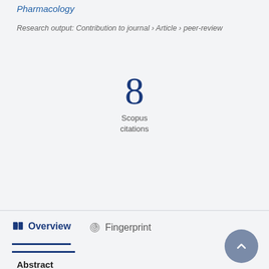Pharmacology
Research output: Contribution to journal › Article › peer-review
[Figure (infographic): Large numeral '8' in dark navy blue displaying Scopus citation count, with label 'Scopus citations' below]
Overview   Fingerprint
Abstract